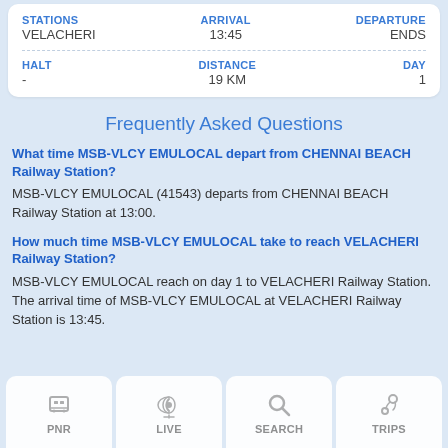| STATIONS | ARRIVAL | DEPARTURE |
| --- | --- | --- |
| VELACHERI | 13:45 | ENDS |
| HALT | DISTANCE | DAY |
| - | 19 KM | 1 |
Frequently Asked Questions
What time MSB-VLCY EMULOCAL depart from CHENNAI BEACH Railway Station?
MSB-VLCY EMULOCAL (41543) departs from CHENNAI BEACH Railway Station at 13:00.
How much time MSB-VLCY EMULOCAL take to reach VELACHERI Railway Station?
MSB-VLCY EMULOCAL reach on day 1 to VELACHERI Railway Station. The arrival time of MSB-VLCY EMULOCAL at VELACHERI Railway Station is 13:45.
PNR  LIVE  SEARCH  TRIPS